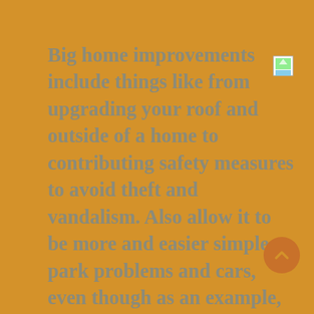Big home improvements include things like from upgrading your roof and outside of a home to contributing safety measures to avoid theft and vandalism. Also allow it to be more and easier simple to park problems and cars, even though as an example, the addition of a whole new storage area can't only improve value of a property. Upgrading a home's exterior can be another illustration of a significant do it yourself task. A method that home owners can improve appearance and performance of a house start by making vital
[Figure (other): Small image icon in the top right corner]
[Figure (other): Orange circular back-to-top button with upward chevron arrow]